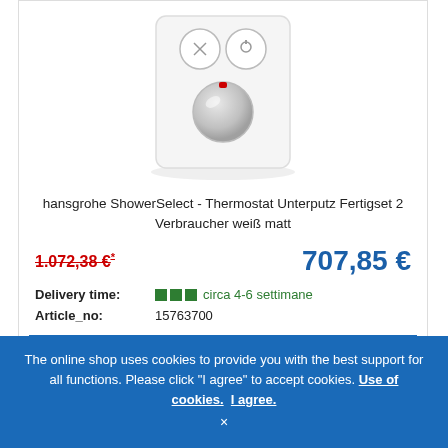[Figure (photo): Product photo of hansgrohe ShowerSelect thermostat, a white square flush-mount device with two round buttons on top and a chrome/silver temperature control knob in the center-bottom]
hansgrohe ShowerSelect - Thermostat Unterputz Fertigset 2 Verbraucher weiß matt
1.072,38 €*
707,85 €
Delivery time: circa 4-6 settimane
Article_no: 15763700
ADD TO CART
The online shop uses cookies to provide you with the best support for all functions. Please click "I agree" to accept cookies. Use of cookies. I agree. ×